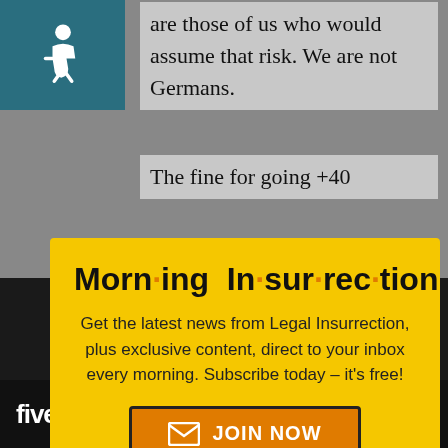[Figure (illustration): Accessibility wheelchair icon on teal/dark blue background, top left corner]
are those of us who would assume that risk. We are not Germans.
The fine for going +40
[Figure (infographic): Modal popup with yellow background: Morning Insurrection newsletter signup. Title 'Morn·ing In·sur·rec·tion' in bold black with orange dots. Text: 'Get the latest news from Legal Insurrection, plus exclusive content, direct to your inbox every morning. Subscribe today – it's free!' Orange 'JOIN NOW' button with envelope icon. X close button top right.]
d___onal fines. Si_
d___n, the frien___
[Figure (logo): Fiverr logo and Start Now green button on black bar at bottom]
those individuals.